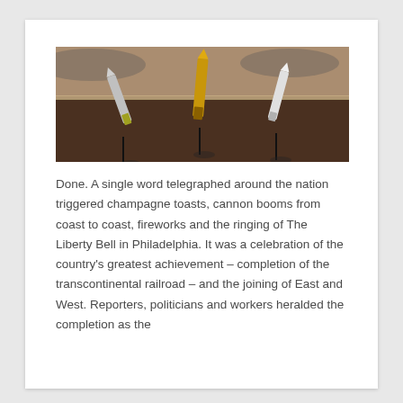[Figure (photo): Museum display showing three ceremonial spikes (golden spike and others) mounted on stands on a dark display surface, with historical photographs visible in the background.]
Done. A single word telegraphed around the nation triggered champagne toasts, cannon booms from coast to coast, fireworks and the ringing of The Liberty Bell in Philadelphia. It was a celebration of the country's greatest achievement – completion of the transcontinental railroad – and the joining of East and West. Reporters, politicians and workers heralded the completion as the